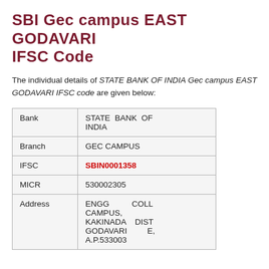SBI Gec campus EAST GODAVARI IFSC Code
The individual details of STATE BANK OF INDIA Gec campus EAST GODAVARI IFSC code are given below:
|  |  |
| --- | --- |
| Bank | STATE BANK OF INDIA |
| Branch | GEC CAMPUS |
| IFSC | SBIN0001358 |
| MICR | 530002305 |
| Address | ENGG COLL CAMPUS, KAKINADA DIST GODAVARI E, A.P.533003 |